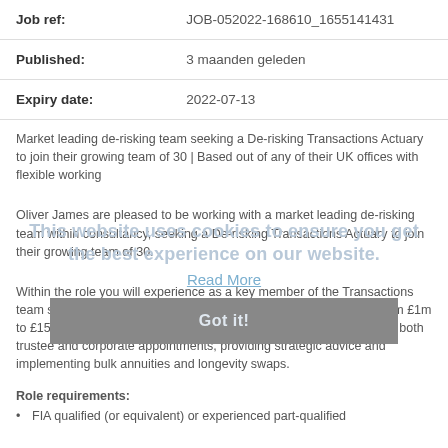| Job ref: | JOB-052022-168610_1655141431 |
| Published: | 3 maanden geleden |
| Expiry date: | 2022-07-13 |
Market leading de-risking team seeking a De-risking Transactions Actuary to join their growing team of 30 | Based out of any of their UK offices with flexible working
Oliver James are pleased to be working with a market leading de-risking team within consultancy, seeking a De-risking Transactions Actuary to join their growing team of 30.
Within the role you will experience as a key member of the Transactions team supporting the delivery of projects for clients ranging in size from £1m to £15bn. You will work with a wide range of different clients covering both trustee and corporate appointments, providing strategic advice and implementing bulk annuities and longevity swaps.
Role requirements:
FIA qualified (or equivalent) or experienced part-qualified